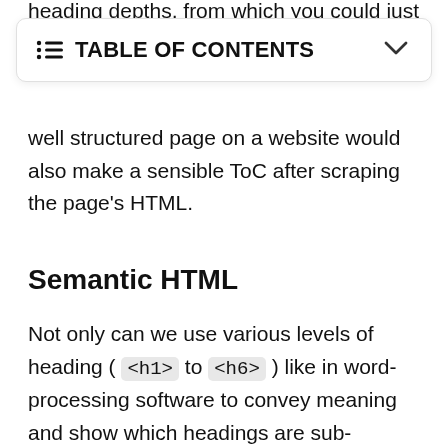heading depths, from which you could just wave
[Figure (screenshot): Table of Contents UI widget with list icon, bold 'TABLE OF CONTENTS' label, and a chevron/dropdown arrow on the right, inside a rounded white card with shadow border]
well structured page on a website would also make a sensible ToC after scraping the page's HTML.
Semantic HTML
Not only can we use various levels of heading ( <h1> to <h6> ) like in word-processing software to convey meaning and show which headings are sub-headings of others, HTML also has many tags which make clearer the broad nature what is inside of them - an example using these tags is